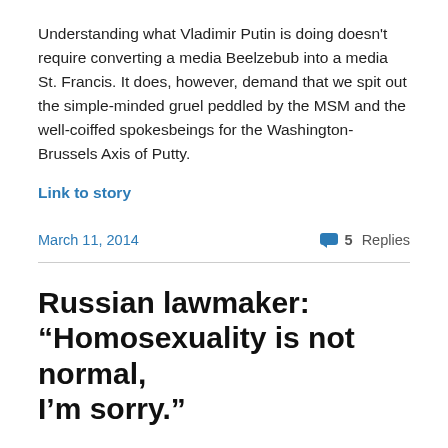Understanding what Vladimir Putin is doing doesn't require converting a media Beelzebub into a media St. Francis. It does, however, demand that we spit out the simple-minded gruel peddled by the MSM and the well-coiffed spokesbeings for the Washington-Brussels Axis of Putty.
Link to story
March 11, 2014
5 Replies
Russian lawmaker: “Homosexuality is not normal, I’m sorry.”
“We have to defend the future of our children,” said